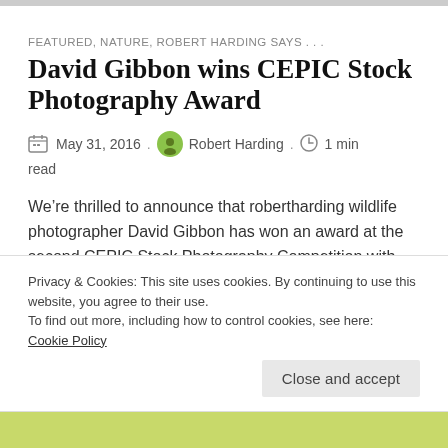FEATURED, NATURE, ROBERT HARDING SAYS . . .
David Gibbon wins CEPIC Stock Photography Award
May 31, 2016 . Robert Harding . 1 min read
We’re thrilled to announce that robertharding wildlife photographer David Gibbon has won an award at the second CEPIC Stock Photography Competition with his incredible
Privacy & Cookies: This site uses cookies. By continuing to use this website, you agree to their use.
To find out more, including how to control cookies, see here:
Cookie Policy
Close and accept